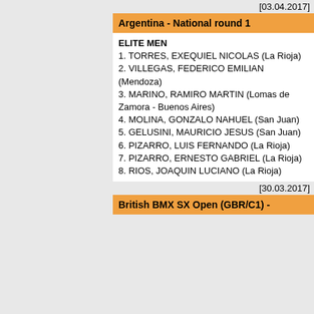[03.04.2017]
Argentina - National round 1
ELITE MEN
1. TORRES, EXEQUIEL NICOLAS (La Rioja)
2. VILLEGAS, FEDERICO EMILIAN (Mendoza)
3. MARINO, RAMIRO MARTIN (Lomas de Zamora - Buenos Aires)
4. MOLINA, GONZALO NAHUEL (San Juan)
5. GELUSINI, MAURICIO JESUS (San Juan)
6. PIZARRO, LUIS FERNANDO (La Rioja)
7. PIZARRO, ERNESTO GABRIEL (La Rioja)
8. RIOS, JOAQUIN LUCIANO (La Rioja)
[30.03.2017]
British BMX SX Open (GBR/C1) -